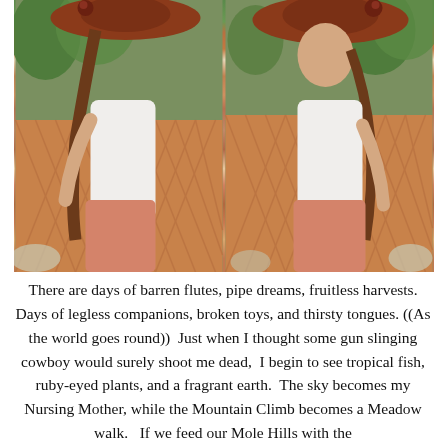[Figure (photo): Two side-by-side photos of a woman wearing a wide-brim rust/red hat, white sleeveless top, and salmon/coral pants, posed in front of a wooden lattice fence. Left photo shows her from the back/side, right photo shows her turning to face slightly forward.]
There are days of barren flutes, pipe dreams, fruitless harvests. Days of legless companions, broken toys, and thirsty tongues. ((As the world goes round)) Just when I thought some gun slinging cowboy would surely shoot me dead, I begin to see tropical fish, ruby-eyed plants, and a fragrant earth. The sky becomes my Nursing Mother, while the Mountain Climb becomes a Meadow walk. If we feed our Mole Hills with the